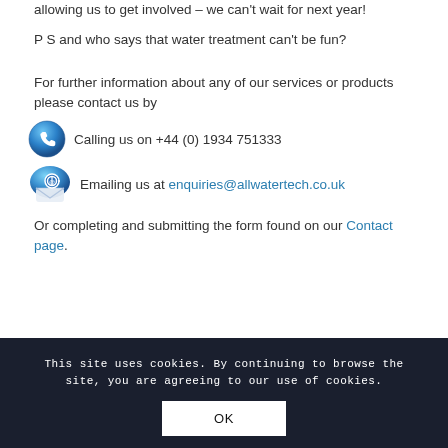allowing us to get involved – we can't wait for next year!
P S and who says that water treatment can't be fun?
For further information about any of our services or products please contact us by
Calling us on +44 (0) 1934 751333
Emailing us at enquiries@allwatertech.co.uk
Or completing and submitting the form found on our Contact page.
This site uses cookies. By continuing to browse the site, you are agreeing to our use of cookies.
OK